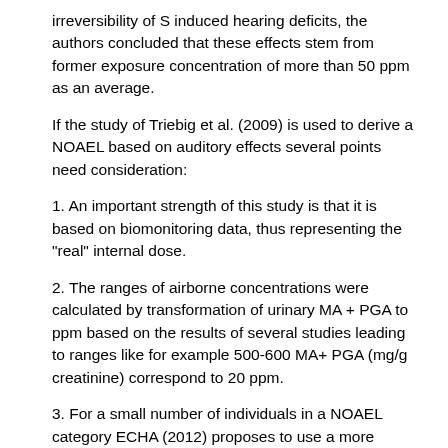irreversibility of S induced hearing deficits, the authors concluded that these effects stem from former exposure concentration of more than 50 ppm as an average.
If the study of Triebig et al. (2009) is used to derive a NOAEL based on auditory effects several points need consideration:
1. An important strength of this study is that it is based on biomonitoring data, thus representing the "real" internal dose.
2. The ranges of airborne concentrations were calculated by transformation of urinary MA + PGA to ppm based on the results of several studies leading to ranges like for example 500-600 MA+ PGA (mg/g creatinine) correspond to 20 ppm.
3. For a small number of individuals in a NOAEL category ECHA (2012) proposes to use a more conservative approach than the upper limit of this category, for example the average exposure.
4. As regards the representativeness of the study